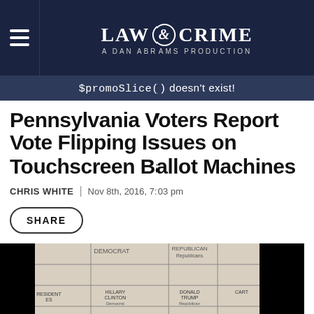LAW & CRIME — A DAN ABRAMS PRODUCTION
$promoSlice() doesn't exist!
Pennsylvania Voters Report Vote Flipping Issues on Touchscreen Ballot Machines
CHRIS WHITE | Nov 8th, 2016, 7:03 pm
SHARE
[Figure (photo): Video still of a hand touching a touchscreen ballot machine showing columns for Democrat and Republican candidates including Hillary Clinton and Donald Trump]